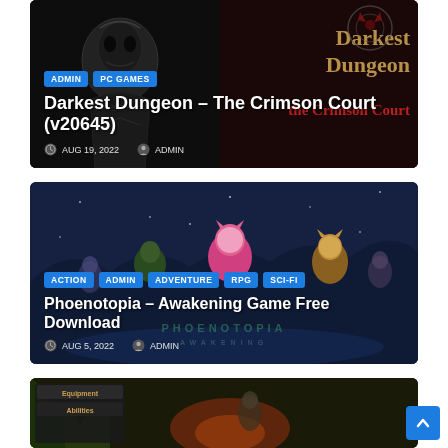[Figure (screenshot): Card thumbnail for Darkest Dungeon – The Crimson Court (v20645) with dark gothic styling, showing game title text and a masked figure illustration]
ADMIN | PC GAMES
Darkest Dungeon – The Crimson Court (v20645)
AUG 19, 2022  ADMIN
[Figure (screenshot): Card thumbnail for Phoenotopia – Awakening Game Free Download with blue fantasy styling, showing anime-style character artwork]
ACTION | ADMIN | ADVENTURE | RPG | SCI-FI
Phoenotopia – Awakening Game Free Download
AUG 5, 2022  ADMIN
[Figure (screenshot): Partial card thumbnail for a third game article showing forest/fire scene with Equipment and Abilities UI elements visible]